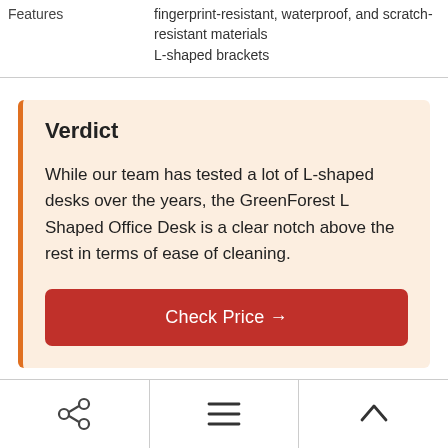|  |  |
| --- | --- |
| Features | fingerprint-resistant, waterproof, and scratch-resistant materials
L-shaped brackets |
Verdict
While our team has tested a lot of L-shaped desks over the years, the GreenForest L Shaped Office Desk is a clear notch above the rest in terms of ease of cleaning.
Check Price →
Share | Menu | Up